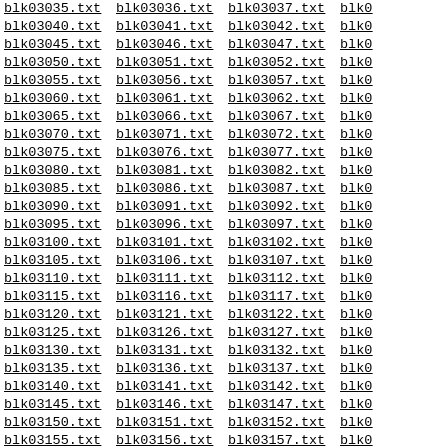blk03035.txt blk03036.txt blk03037.txt blk0...
blk03040.txt blk03041.txt blk03042.txt blk0...
blk03045.txt blk03046.txt blk03047.txt blk0...
blk03050.txt blk03051.txt blk03052.txt blk0...
blk03055.txt blk03056.txt blk03057.txt blk0...
blk03060.txt blk03061.txt blk03062.txt blk0...
blk03065.txt blk03066.txt blk03067.txt blk0...
blk03070.txt blk03071.txt blk03072.txt blk0...
blk03075.txt blk03076.txt blk03077.txt blk0...
blk03080.txt blk03081.txt blk03082.txt blk0...
blk03085.txt blk03086.txt blk03087.txt blk0...
blk03090.txt blk03091.txt blk03092.txt blk0...
blk03095.txt blk03096.txt blk03097.txt blk0...
blk03100.txt blk03101.txt blk03102.txt blk0...
blk03105.txt blk03106.txt blk03107.txt blk0...
blk03110.txt blk03111.txt blk03112.txt blk0...
blk03115.txt blk03116.txt blk03117.txt blk0...
blk03120.txt blk03121.txt blk03122.txt blk0...
blk03125.txt blk03126.txt blk03127.txt blk0...
blk03130.txt blk03131.txt blk03132.txt blk0...
blk03135.txt blk03136.txt blk03137.txt blk0...
blk03140.txt blk03141.txt blk03142.txt blk0...
blk03145.txt blk03146.txt blk03147.txt blk0...
blk03150.txt blk03151.txt blk03152.txt blk0...
blk03155.txt blk03156.txt blk03157.txt blk0...